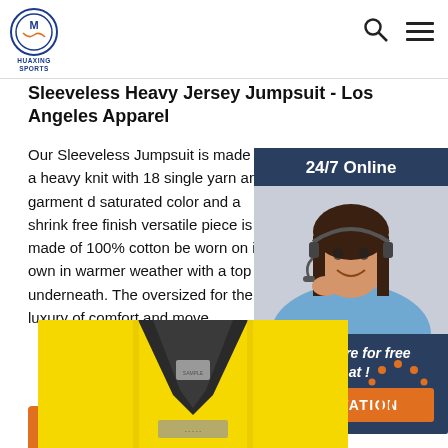HUAXING SPORTS logo, search icon, menu icon
Sleeveless Heavy Jersey Jumpsuit - Los Angeles Apparel
Our Sleeveless Jumpsuit is made of a heavy knit with 18 single yarn and garment d saturated color and a shrink free finish versatile piece is made of 100% cotton be worn on its own in warmer weather with a top underneath. The oversized for the luxury of comfort and move
[Figure (photo): Customer service woman with headset, 24/7 Online chat widget with dark blue background, 'Click here for free chat!' text and orange QUOTATION button]
[Figure (photo): Yellow sleeveless jersey jumpsuit product image showing collar/neckline area]
[Figure (other): TOP navigation button with orange dots arc above the text]